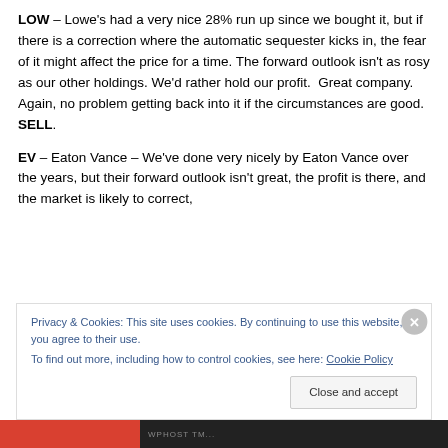LOW – Lowe's had a very nice 28% run up since we bought it, but if there is a correction where the automatic sequester kicks in, the fear of it might affect the price for a time. The forward outlook isn't as rosy as our other holdings. We'd rather hold our profit. Great company. Again, no problem getting back into it if the circumstances are good. SELL.
EV – Eaton Vance – We've done very nicely by Eaton Vance over the years, but their forward outlook isn't great, the profit is there, and the market is likely to correct, possibly aggravating Eaton Vance's issues. We probably
Privacy & Cookies: This site uses cookies. By continuing to use this website, you agree to their use.
To find out more, including how to control cookies, see here: Cookie Policy